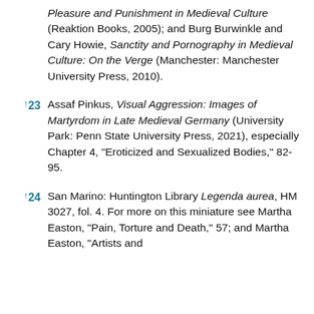Pleasure and Punishment in Medieval Culture (Reaktion Books, 2005); and Burg Burwinkle and Cary Howie, Sanctity and Pornography in Medieval Culture: On the Verge (Manchester: Manchester University Press, 2010).
↑23  Assaf Pinkus, Visual Aggression: Images of Martyrdom in Late Medieval Germany (University Park: Penn State University Press, 2021), especially Chapter 4, "Eroticized and Sexualized Bodies," 82-95.
↑24  San Marino: Huntington Library Legenda aurea, HM 3027, fol. 4. For more on this miniature see Martha Easton, "Pain, Torture and Death," 57; and Martha Easton, "Artists and